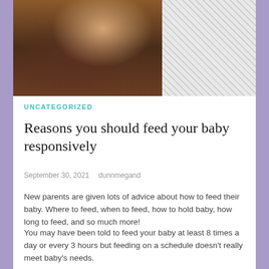[Figure (photo): A mother breastfeeding/holding her baby, dark-skinned figures, with a grey hatched placeholder area to the right]
UNCATEGORIZED
Reasons you should feed your baby responsively
September 30, 2021   dunnmegand
New parents are given lots of advice about how to feed their baby.  Where to feed, when to feed, how to hold baby, how long to feed, and so much more!
You may have been told to feed your baby at least 8 times a day or every 3 hours but feeding on a schedule doesn't really meet baby's needs.